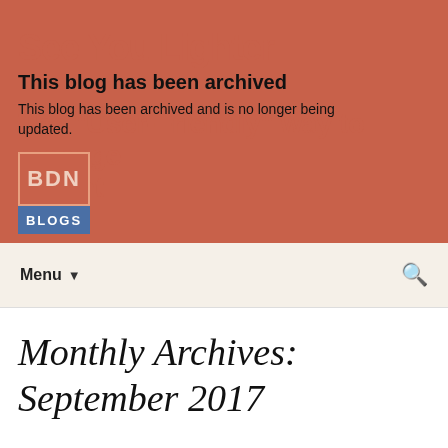This blog has been archived
This blog has been archived and is no longer being updated.
Menu
Monthly Archives: September 2017